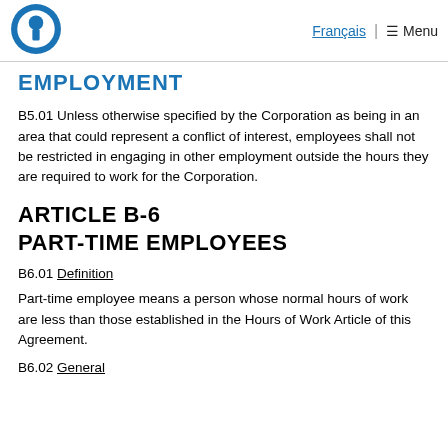Français  Menu
EMPLOYMENT
B5.01 Unless otherwise specified by the Corporation as being in an area that could represent a conflict of interest, employees shall not be restricted in engaging in other employment outside the hours they are required to work for the Corporation.
ARTICLE B-6
PART-TIME EMPLOYEES
B6.01 Definition
Part-time employee means a person whose normal hours of work are less than those established in the Hours of Work Article of this Agreement.
B6.02 General